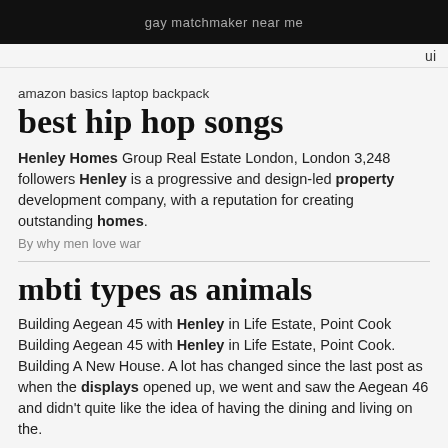gay matchmaker near me
ui
amazon basics laptop backpack
best hip hop songs
Henley Homes Group Real Estate London, London 3,248 followers Henley is a progressive and design-led property development company, with a reputation for creating outstanding homes.
By why men love war
mbti types as animals
Building Aegean 45 with Henley in Life Estate, Point Cook Building Aegean 45 with Henley in Life Estate, Point Cook. Building A New House. A lot has changed since the last post as when the displays opened up, we went and saw the Aegean 46 and didn't quite like the idea of having the dining and living on the.